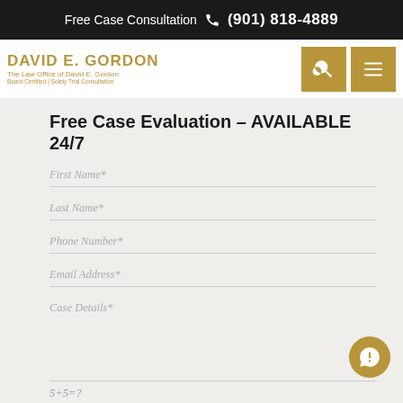Free Case Consultation (901) 818-4889
[Figure (logo): David E. Gordon - The Law Office of David E. Gordon logo with gold text]
Free Case Evaluation - AVAILABLE 24/7
First Name*
Last Name*
Phone Number*
Email Address*
Case Details*
5+5=?